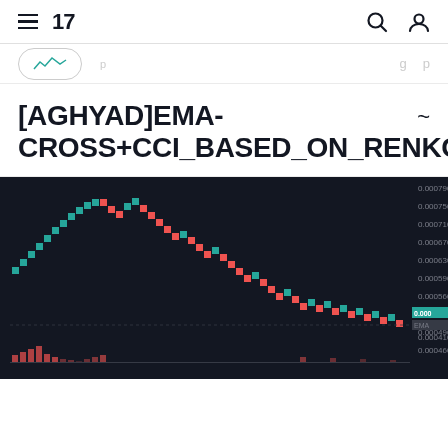TradingView navigation header with hamburger menu, TV logo, search and user icons
[partial card row — previous listing]
[AGHYAD]EMA-CROSS+CCI_BASED_ON_RENKO
[Figure (screenshot): TradingView Renko chart showing a descending price trend with green and red candles on a dark background. Price labels visible on right axis. A red histogram indicator visible at the bottom.]